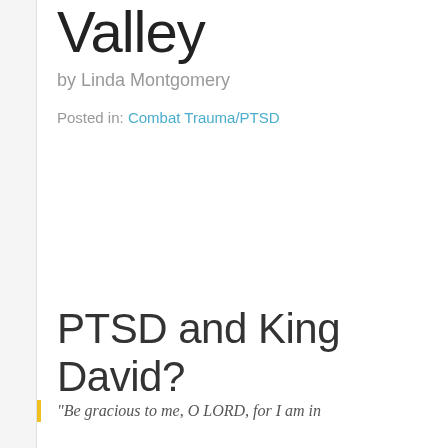Through the Valley
by Linda Montgomery
Posted in: Combat Trauma/PTSD
PTSD and King David?
“Be gracious to me, O LORD, for I am in